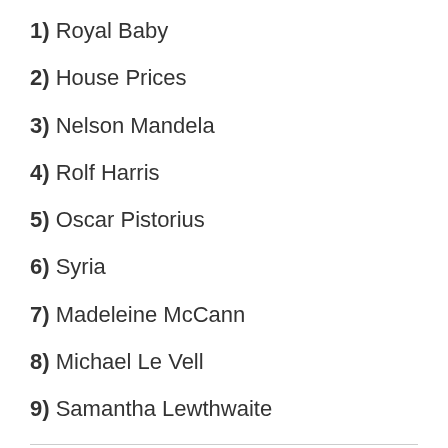1) Royal Baby
2) House Prices
3) Nelson Mandela
4) Rolf Harris
5) Oscar Pistorius
6) Syria
7) Madeleine McCann
8) Michael Le Vell
9) Samantha Lewthwaite
10) Margaret Thatcher